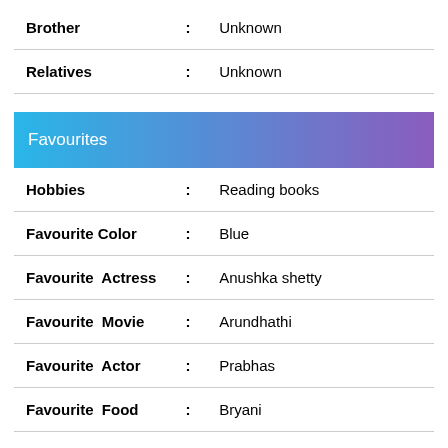| Field | : | Value |
| --- | --- | --- |
| Brother | : | Unknown |
| Relatives | : | Unknown |
Favourites
| Field | : | Value |
| --- | --- | --- |
| Hobbies | : | Reading books |
| Favourite Color | : | Blue |
| Favourite Actress | : | Anushka shetty |
| Favourite Movie | : | Arundhathi |
| Favourite Actor | : | Prabhas |
| Favourite Food | : | Bryani |